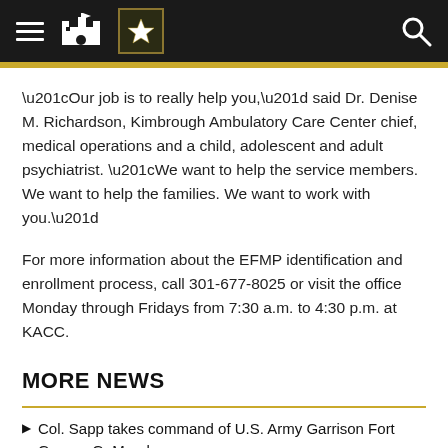[U.S. Army header navigation bar with hamburger menu, castle icon, Army star logo, and search icon]
“Our job is to really help you,” said Dr. Denise M. Richardson, Kimbrough Ambulatory Care Center chief, medical operations and a child, adolescent and adult psychiatrist. “We want to help the service members. We want to help the families. We want to work with you.”
For more information about the EFMP identification and enrollment process, call 301-677-8025 or visit the office Monday through Fridays from 7:30 a.m. to 4:30 p.m. at KACC.
MORE NEWS
Col. Sapp takes command of U.S. Army Garrison Fort George G. Meade
Col. Michael A. Sapp assumed command as the 88th garrison